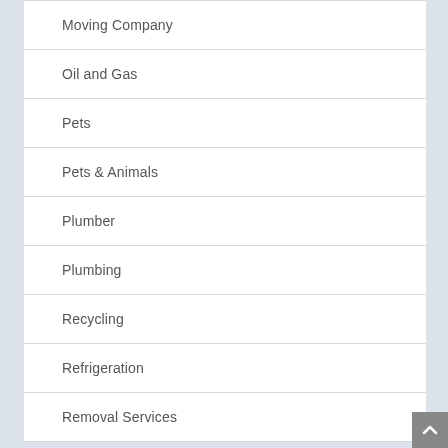Moving Company
Oil and Gas
Pets
Pets & Animals
Plumber
Plumbing
Recycling
Refrigeration
Removal Services